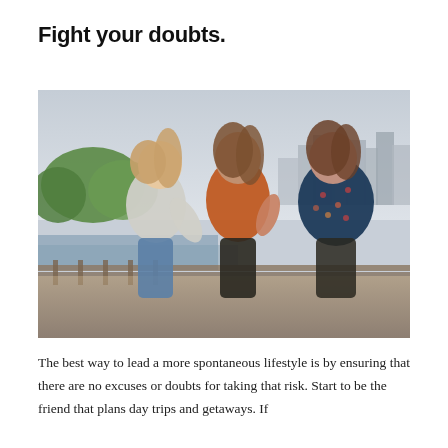Fight your doubts.
[Figure (photo): Three young women laughing and walking arm-in-arm outdoors near a waterfront with a city skyline and green trees in the background. Left woman wears a grey t-shirt and jeans, center woman wears an orange top and black pants, right woman wears a dark floral blouse.]
The best way to lead a more spontaneous lifestyle is by ensuring that there are no excuses or doubts for taking that risk. Start to be the friend that plans day trips and getaways. If